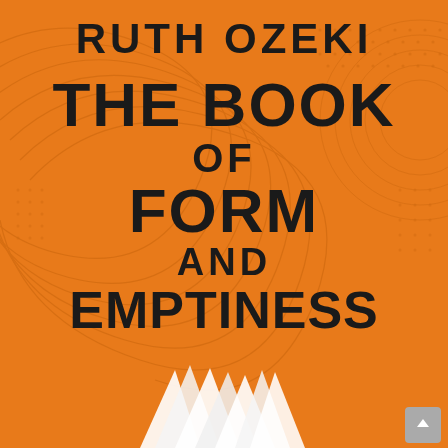[Figure (illustration): Book cover for 'The Book of Form and Emptiness' by Ruth Ozeki. Orange background with swirling concentric line patterns and dot patterns. Large bold black text displays the author name and title. Bottom shows white pages fanning out from the spine. Small grey arrow button in bottom-right corner.]